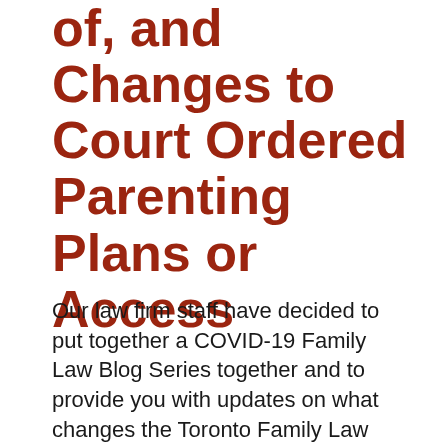of, and Changes to Court Ordered Parenting Plans or Access
Our law firm staff have decided to put together a COVID-19 Family Law Blog Series together and to provide you with updates on what changes the Toronto Family Law courts are implementing during COVID-19. This post is useful to parents who